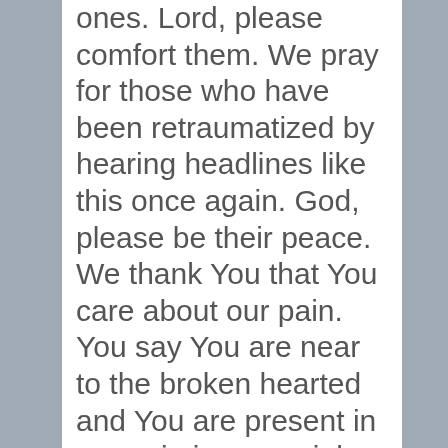ones. Lord, please comfort them. We pray for those who have been retraumatized by hearing headlines like this once again. God, please be their peace. We thank You that You care about our pain. You say You are near to the broken hearted and You are present in our pain in a special and precious way. God as we express our lament over the brokenness of this world, we pay that